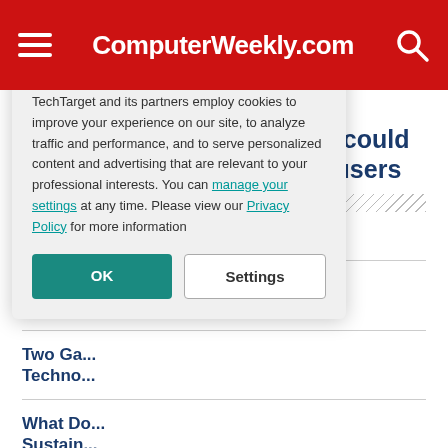ComputerWeekly.com
August 18, 2022
Amazon Ring vulnerability could have been used to spy on users
Sponsored News
Why En... Gee-Wh...
Two Ga... Techno...
What Do... Sustain...
Reimag...
We value your privacy. TechTarget and its partners employ cookies to improve your experience on our site, to analyze traffic and performance, and to serve personalized content and advertising that are relevant to your professional interests. You can manage your settings at any time. Please view our Privacy Policy for more information